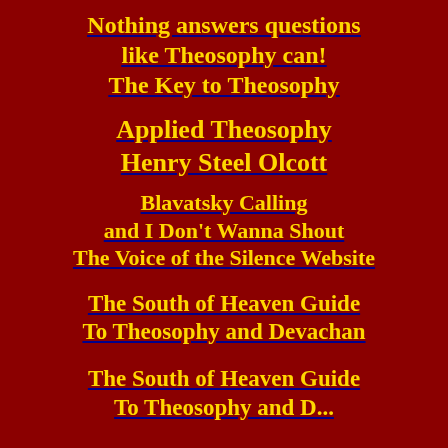Nothing answers questions like Theosophy can! The Key to Theosophy
Applied Theosophy Henry Steel Olcott
Blavatsky Calling and I Don't Wanna Shout The Voice of the Silence Website
The South of Heaven Guide To Theosophy and Devachan
The South of Heaven Guide To Theosophy and D...